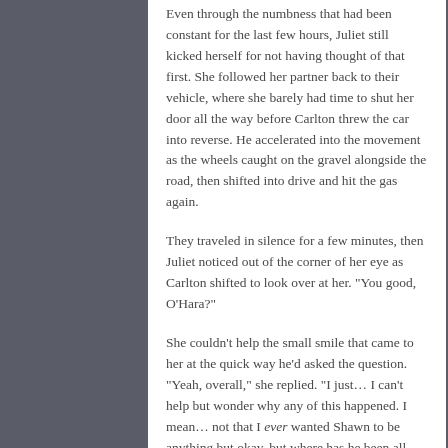Even through the numbness that had been constant for the last few hours, Juliet still kicked herself for not having thought of that first. She followed her partner back to their vehicle, where she barely had time to shut her door all the way before Carlton threw the car into reverse. He accelerated into the movement as the wheels caught on the gravel alongside the road, then shifted into drive and hit the gas again.
They traveled in silence for a few minutes, then Juliet noticed out of the corner of her eye as Carlton shifted to look over at her. "You good, O'Hara?"
She couldn't help the small smile that came to her at the quick way he'd asked the question. "Yeah, overall," she replied. "I just… I can't help but wonder why any of this happened. I mean… not that I ever wanted Shawn to be anything but okay, but where has he been all this time? If somebody took him, then why has he suddenly reappeared